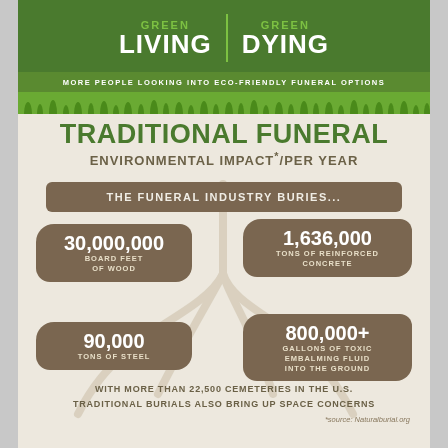GREEN LIVING | GREEN DYING
MORE PEOPLE LOOKING INTO ECO-FRIENDLY FUNERAL OPTIONS
TRADITIONAL FUNERAL ENVIRONMENTAL IMPACT*/PER YEAR
THE FUNERAL INDUSTRY BURIES...
30,000,000 BOARD FEET OF WOOD
1,636,000 TONS OF REINFORCED CONCRETE
90,000 TONS OF STEEL
800,000+ GALLONS OF TOXIC EMBALMING FLUID INTO THE GROUND
WITH MORE THAN 22,500 CEMETERIES IN THE U.S. TRADITIONAL BURIALS ALSO BRING UP SPACE CONCERNS
*source: Naturalburial.org